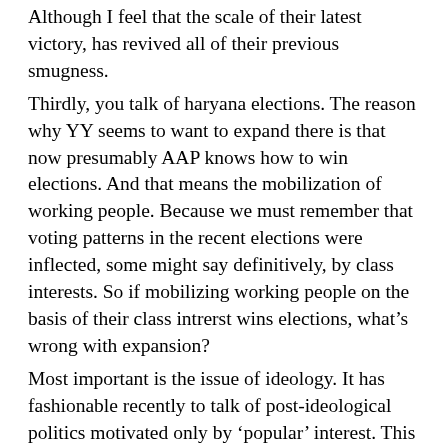Although I feel that the scale of their latest victory, has revived all of their previous smugness.
Thirdly, you talk of haryana elections. The reason why YY seems to want to expand there is that now presumably AAP knows how to win elections. And that means the mobilization of working people. Because we must remember that voting patterns in the recent elections were inflected, some might say definitively, by class interests. So if mobilizing working people on the basis of their class intrerst wins elections, what’s wrong with expansion?
Most important is the issue of ideology. It has fashionable recently to talk of post-ideological politics motivated only by ‘popular’ interest. This might win elections but the fact of the matter is society is itself (as you put it) a power struggle. Single issue parties may win cross class support especially on issues affecting everyone (corruption) but politics and government is more expansive than a ngo. In the end when the chips are